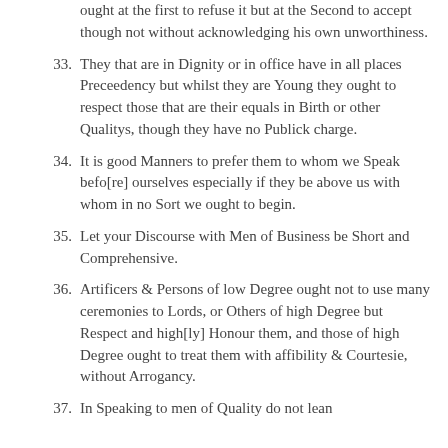ought at the first to refuse it but at the Second to accept though not without acknowledging his own unworthiness.
33. They that are in Dignity or in office have in all places Preceedency but whilst they are Young they ought to respect those that are their equals in Birth or other Qualitys, though they have no Publick charge.
34. It is good Manners to prefer them to whom we Speak befo[re] ourselves especially if they be above us with whom in no Sort we ought to begin.
35. Let your Discourse with Men of Business be Short and Comprehensive.
36. Artificers & Persons of low Degree ought not to use many ceremonies to Lords, or Others of high Degree but Respect and high[ly] Honour them, and those of high Degree ought to treat them with affibility & Courtesie, without Arrogancy.
37. In Speaking to men of Quality do not lean